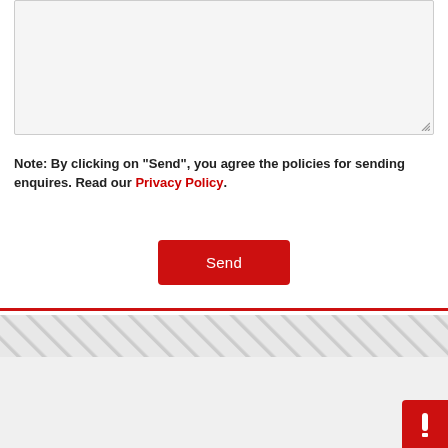[Figure (other): A text area input field with light gray background and resize handle in bottom-right corner]
Note: By clicking on "Send", you agree the policies for sending enquires. Read our Privacy Policy.
[Figure (other): Red 'Send' button centered on the page]
[Figure (other): Red horizontal divider line spanning full width]
[Figure (other): Diagonal stripe decorative band]
[Figure (other): Bottom section with 'Contact Us' chat widget showing a labeled bubble and pink chat icon circle, plus a red square in bottom-right corner]